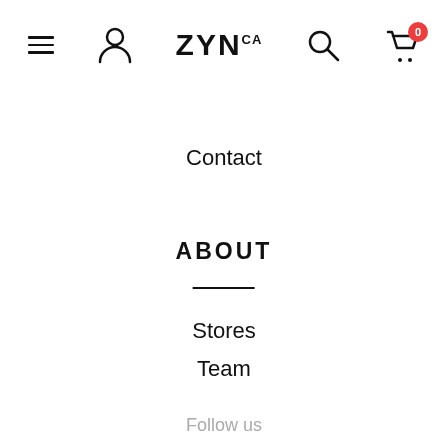ZYN.CA navigation bar with hamburger menu, user icon, logo, search icon, and cart (0)
Contact
ABOUT
Stores
Team
Follow us